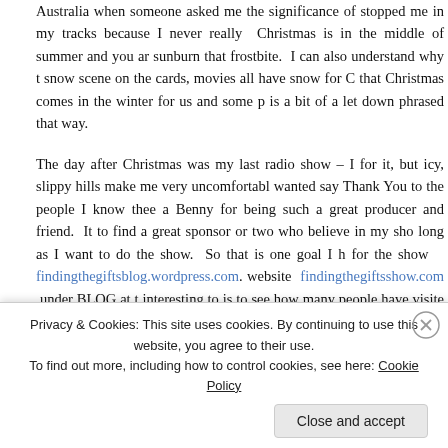Australia when someone asked me the significance of stopped me in my tracks because I never really Christmas is in the middle of summer and you are sunburn that frostbite. I can also understand why the snow scene on the cards, movies all have snow for C that Christmas comes in the winter for us and some p is a bit of a let down phrased that way.
The day after Christmas was my last radio show – I for it, but icy, slippy hills make me very uncomfortable wanted say Thank You to the people I know thee a Benny for being such a great producer and friend. It to find a great sponsor or two who believe in my show long as I want to do the show. So that is one goal I h for the show findingthegiftsblog.wordpress.com. website findingthegiftsshow.com under BLOG at the interesting to is to see how many people have visited anyone knew about it. I am using content from the s as if I am still doing the show.
Privacy & Cookies: This site uses cookies. By continuing to use this website, you agree to their use. To find out more, including how to control cookies, see here: Cookie Policy